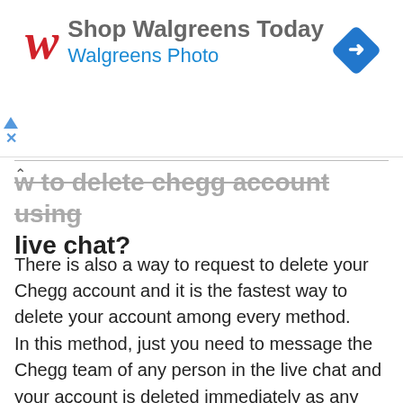[Figure (other): Walgreens advertisement banner with red italic W logo, text 'Shop Walgreens Today' and 'Walgreens Photo' in blue, and a blue diamond navigation icon on the right]
w to delete chegg account using live chat?
There is also a way to request to delete your Chegg account and it is the fastest way to delete your account among every method.
In this method, just you need to message the Chegg team of any person in the live chat and your account is deleted immediately as any person comes in conversation.
In this way, you will need to follow some of the similar steps as we have mentioned through the website by filling form methods. So, let's know